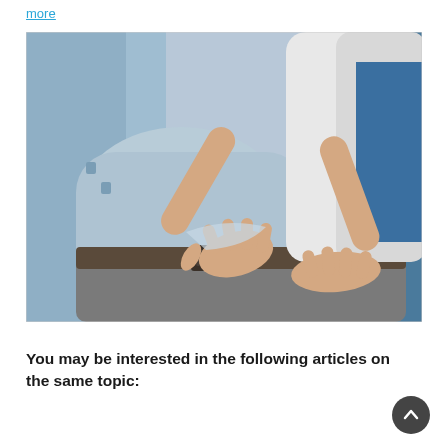more
[Figure (photo): A doctor in a white coat examining a patient's lower back. The patient is lying down wearing a light blue shirt and grey pants with a brown belt. The doctor's hands are pressing on the patient's lower back/hip area.]
You may be interested in the following articles on the same topic: